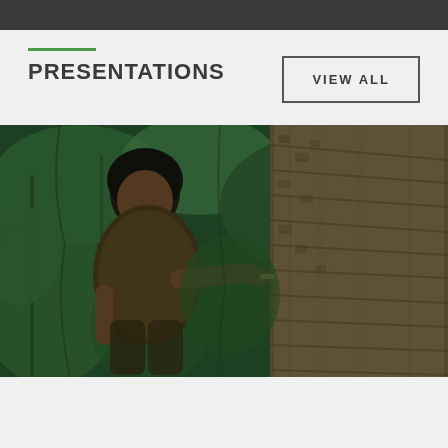PRESENTATIONS
VIEW ALL
[Figure (photo): A man in a jungle setting examining or working on a large textured tree trunk. The photo has a vintage quality with green tropical foliage in the background.]